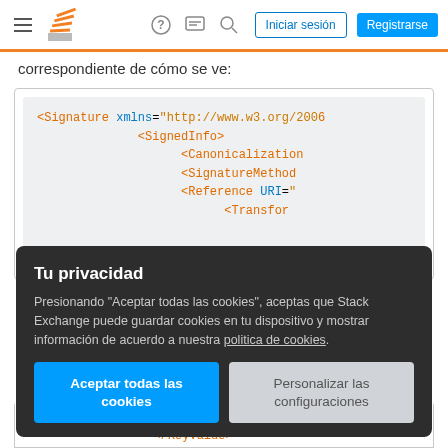[Figure (screenshot): Stack Exchange navigation bar with hamburger menu, logo, help icon, chat icon, search icon, Iniciar sesión button, and Registrarse button]
correspondiente de cómo se ve:
[Figure (screenshot): Code block showing XML digital signature structure: <Signature xmlns="http://www.w3.org/2006...">, <SignedInfo>, <CanonicalizationMethod...>, <SignatureMethod...>, <Reference URI="...">, <Transforms>, </Transforms>, <DigestMethod...>]
Tu privacidad
Presionando "Aceptar todas las cookies", aceptas que Stack Exchange puede guardar cookies en tu dispositivo y mostrar información de acuerdo a nuestra politica de cookies.
Aceptar todas las cookies
Personalizar las configuraciones
[Figure (screenshot): Bottom of code block showing </KeyValue> tag]